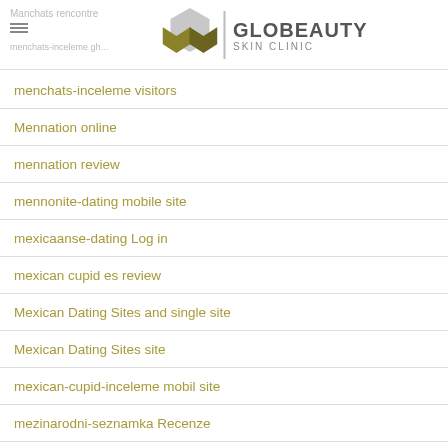Globeauty Skin Clinic
menchats-inceleme visitors
Mennation online
mennation review
mennonite-dating mobile site
mexicaanse-dating Log in
mexican cupid es review
Mexican Dating Sites and single site
Mexican Dating Sites site
mexican-cupid-inceleme mobil site
mezinarodni-seznamka Recenze